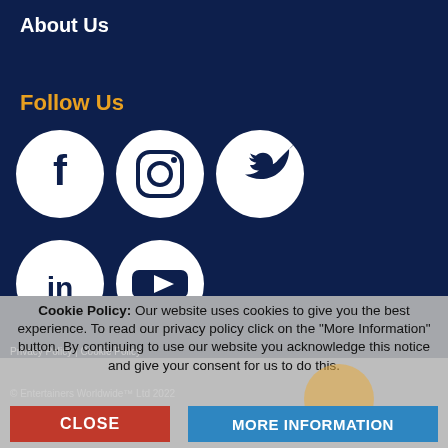About Us
Follow Us
[Figure (illustration): Social media icons row 1: Facebook, Instagram, Twitter (white circles on dark navy background)]
[Figure (illustration): Social media icons row 2: LinkedIn, YouTube (white circles on dark navy background)]
Cookie Policy: Our website uses cookies to give you the best experience. To read our privacy policy click on the "More Information" button. By continuing to use our website you acknowledge this notice and give your consent for us to do this.
Privacy Policy | Cookie Policy
© Entertainers Worldwide™ Ltd 2022